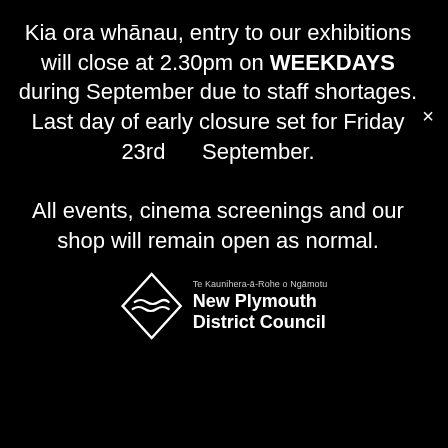Kia ora whānau, entry to our exhibitions will close at 2.30pm on WEEKDAYS during September due to staff shortages. Last day of early closure set for Friday 23rd September.
All events, cinema screenings and our shop will remain open as normal.
[Figure (logo): New Plymouth District Council logo — diamond shape with wave lines inside, beside text 'Te Kaunihera-ā-Rohe o Ngāmotu / New Plymouth District Council']